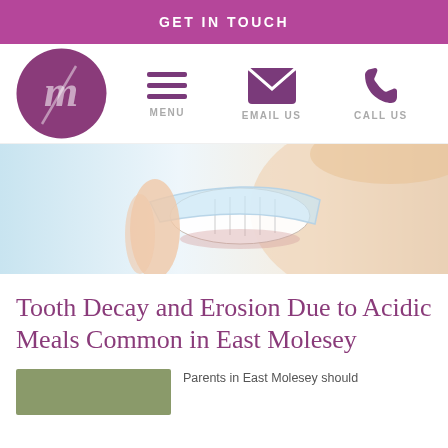GET IN TOUCH
[Figure (logo): Circular purple logo with a stylized italic lowercase 'm' and a diagonal line through it]
[Figure (infographic): Navigation bar with menu (hamburger icon), email us (envelope icon), call us (phone icon) in purple]
[Figure (photo): Close-up photo of a smiling woman holding a clear dental aligner/retainer tray near her teeth]
Tooth Decay and Erosion Due to Acidic Meals Common in East Molesey
[Figure (photo): Small thumbnail image with olive/green coloring]
Parents in East Molesey should